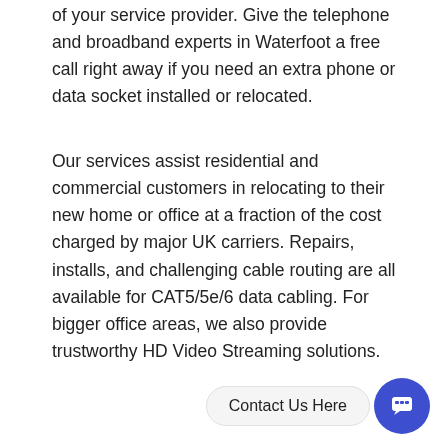of your service provider. Give the telephone and broadband experts in Waterfoot a free call right away if you need an extra phone or data socket installed or relocated.
Our services assist residential and commercial customers in relocating to their new home or office at a fraction of the cost charged by major UK carriers. Repairs, installs, and challenging cable routing are all available for CAT5/5e/6 data cabling. For bigger office areas, we also provide trustworthy HD Video Streaming solutions.
[Figure (other): Contact Us Here button with chat icon circle in blue]